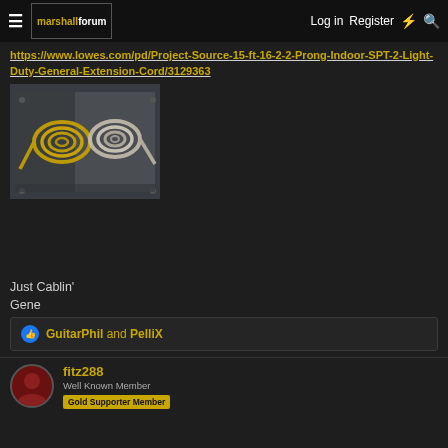Marshall Forum — Log in | Register
https://www.lowes.com/pd/Project-Source-15-ft-16-2-2-Prong-Indoor-SPT-2-Light-Duty-General-Extension-Cord/3129363
[Figure (photo): Photo of two coiled wires/cables on a dark metal surface — one yellow/gold coil and one silver/white coil, likely guitar amp wiring components]
Just Cablin'
Gene
GuitarPhil and PelliX
fitz288
Well Known Member